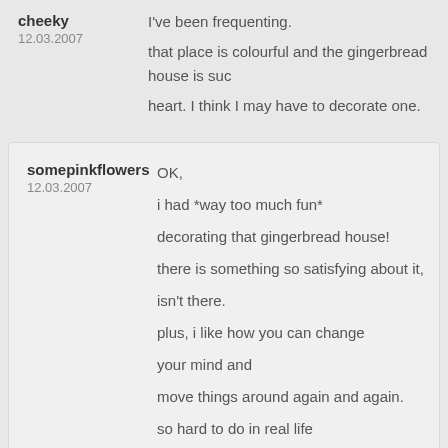cheeky
12.03.2007
I've been frequenting. that place is colourful and the gingerbread house is such heart. I think I may have to decorate one.
somepinkflowers
12.03.2007
OK, i had *way too much fun* decorating that gingerbread house! there is something so satisfying about it, isn't there. plus, i like how you can change your mind and move things around again and again. so hard to do in real life with sticky icing. 🙂 thanks for the happy diversion!